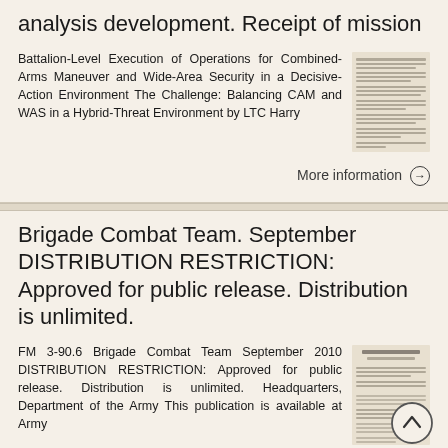analysis development. Receipt of mission
Battalion-Level Execution of Operations for Combined- Arms Maneuver and Wide-Area Security in a Decisive- Action Environment The Challenge: Balancing CAM and WAS in a Hybrid-Threat Environment by LTC Harry
More information →
Brigade Combat Team. September DISTRIBUTION RESTRICTION: Approved for public release. Distribution is unlimited.
FM 3-90.6 Brigade Combat Team September 2010 DISTRIBUTION RESTRICTION: Approved for public release. Distribution is unlimited. Headquarters, Department of the Army This publication is available at Army